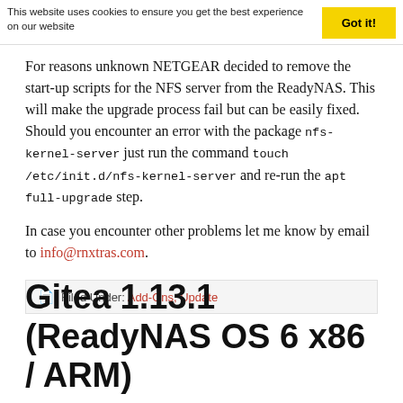This website uses cookies to ensure you get the best experience on our website   Got it!
For reasons unknown NETGEAR decided to remove the start-up scripts for the NFS server from the ReadyNAS. This will make the upgrade process fail but can be easily fixed. Should you encounter an error with the package nfs-kernel-server just run the command touch /etc/init.d/nfs-kernel-server and re-run the apt full-upgrade step.
In case you encounter other problems let me know by email to info@rnxtras.com.
Filed Under: Add-Ons, Update
Gitea 1.13.1 (ReadyNAS OS 6 x86 / ARM)